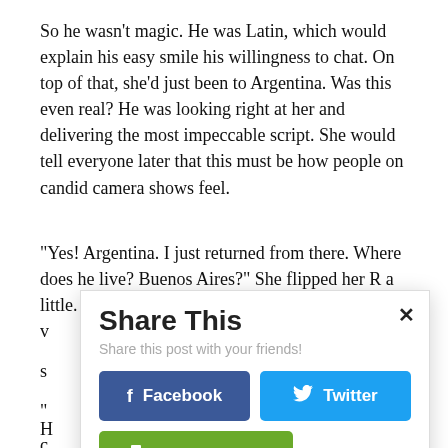So he wasn’t magic. He was Latin, which would explain his easy smile his willingness to chat. On top of that, she’d just been to Argentina. Was this even real? He was looking right at her and delivering the most impeccable script. She would tell everyone later that this must be how people on candid camera shows feel.
“Yes! Argentina. I just returned from there. Where does he live? Buenos Aires?” She flipped her R a little. She
[Figure (screenshot): Share This dialog box with close button (x), subtitle 'Share this post with your friends!', Facebook button (blue), Twitter button (light blue), and Print Friendly button (green)]